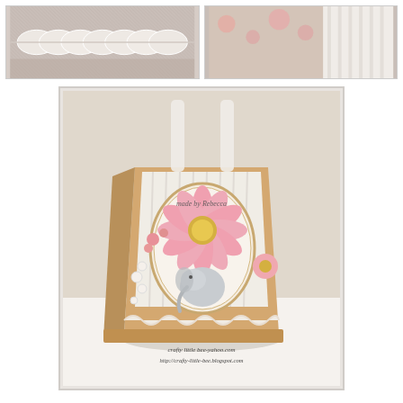[Figure (photo): Top-left photo showing white ruffled fabric trim or lace ribbon detail on a burlap or natural surface with floral background]
[Figure (photo): Top-right photo showing floral patterned fabric or paper with pink roses and white vertical striped curtain or blind in background]
[Figure (photo): Main large photo of a handmade decorative gift bag in golden/tan color, decorated with pink paper flowers (daisies and roses), pearl embellishments, a stamped image of a baby elephant under a large pink daisy/gerbera flower, white ribbon handle, scalloped edge at the bottom, with watermark text 'made by rebecca' and 'crafty little bee-yahoo.com / http://crafty-little-bee.blogspot.com']